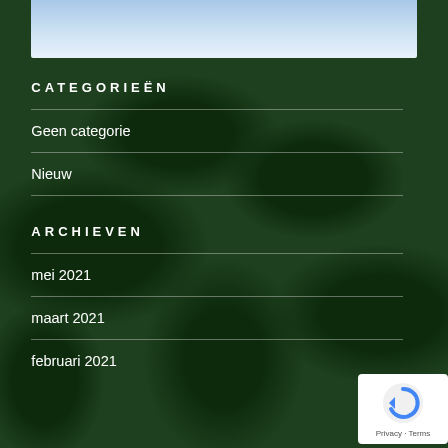[Figure (photo): Sky gradient image at top of page, light blue fading to white]
CATEGORIEËN
Geen categorie
Nieuw
ARCHIEVEN
mei 2021
maart 2021
februari 2021